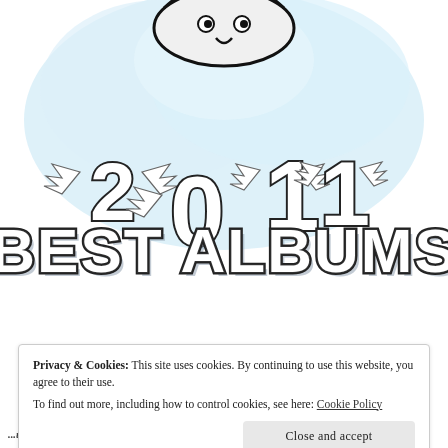[Figure (illustration): Stylized '2011' with wings on each digit and a sketchy cartoon character/face above, set against a light blue cloud background. Below the numbers reads 'BEST ALBUMS' in large bold outlined block letters with shadow effect.]
Privacy & Cookies: This site uses cookies. By continuing to use this website, you agree to their use. To find out more, including how to control cookies, see here: Cookie Policy
Close and accept
...ut the currently greatest band has to offer...